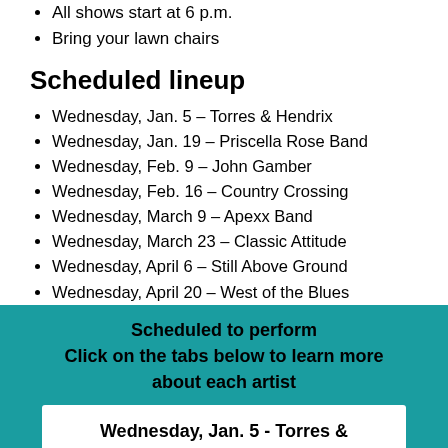All shows start at 6 p.m.
Bring your lawn chairs
Scheduled lineup
Wednesday, Jan. 5 – Torres & Hendrix
Wednesday, Jan. 19 – Priscella Rose Band
Wednesday, Feb. 9 – John Gamber
Wednesday, Feb. 16 – Country Crossing
Wednesday, March 9 – Apexx Band
Wednesday, March 23 – Classic Attitude
Wednesday, April 6 – Still Above Ground
Wednesday, April 20 – West of the Blues
Scheduled to perform
Click on the tabs below to learn more about each artist
Wednesday, Jan. 5 - Torres & Hendrix
Torres & Hendrix is the musical duo from Phoenix. Mike Torres (guitar) and Amanda E. Hendrix (vocals) have performed in the